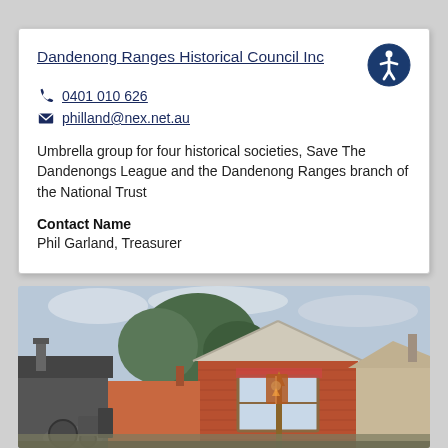Dandenong Ranges Historical Council Inc
0401 010 626
philland@nex.net.au
Umbrella group for four historical societies, Save The Dandenongs League and the Dandenong Ranges branch of the National Trust
Contact Name
Phil Garland, Treasurer
[Figure (photo): Photograph of a historic brick building with a gabled roof and large windows, surrounded by trees, with a decorative banner/totem in the foreground and old machinery visible on the left.]